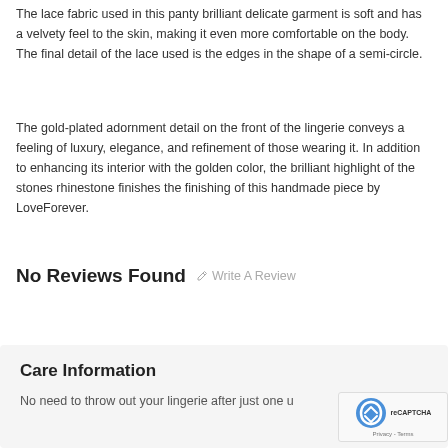The lace fabric used in this panty brilliant delicate garment is soft and has a velvety feel to the skin, making it even more comfortable on the body. The final detail of the lace used is the edges in the shape of a semi-circle.
The gold-plated adornment detail on the front of the lingerie conveys a feeling of luxury, elegance, and refinement of those wearing it. In addition to enhancing its interior with the golden color, the brilliant highlight of the stones rhinestone finishes the finishing of this handmade piece by LoveForever.
No Reviews Found
✏ Write A Review
Care Information
No need to throw out your lingerie after just one u...